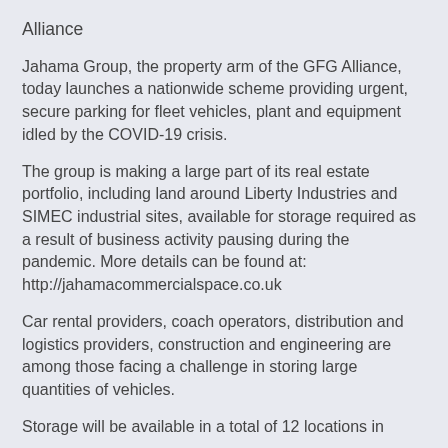Alliance
Jahama Group, the property arm of the GFG Alliance, today launches a nationwide scheme providing urgent, secure parking for fleet vehicles, plant and equipment idled by the COVID-19 crisis.
The group is making a large part of its real estate portfolio, including land around Liberty Industries and SIMEC industrial sites, available for storage required as a result of business activity pausing during the pandemic. More details can be found at: http://jahamacommercialspace.co.uk
Car rental providers, coach operators, distribution and logistics providers, construction and engineering are among those facing a challenge in storing large quantities of vehicles.
Storage will be available in a total of 12 locations in